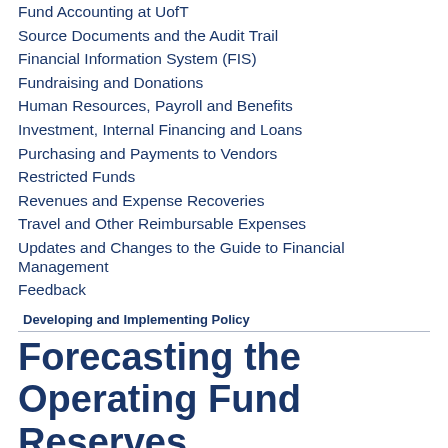Fund Accounting at UofT
Source Documents and the Audit Trail
Financial Information System (FIS)
Fundraising and Donations
Human Resources, Payroll and Benefits
Investment, Internal Financing and Loans
Purchasing and Payments to Vendors
Restricted Funds
Revenues and Expense Recoveries
Travel and Other Reimbursable Expenses
Updates and Changes to the Guide to Financial Management
Feedback
Developing and Implementing Policy
Forecasting the Operating Fund Reserves